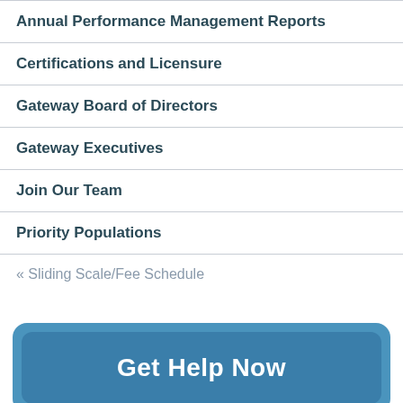Annual Performance Management Reports
Certifications and Licensure
Gateway Board of Directors
Gateway Executives
Join Our Team
Priority Populations
« Sliding Scale/Fee Schedule
Get Help Now
Help a Loved One